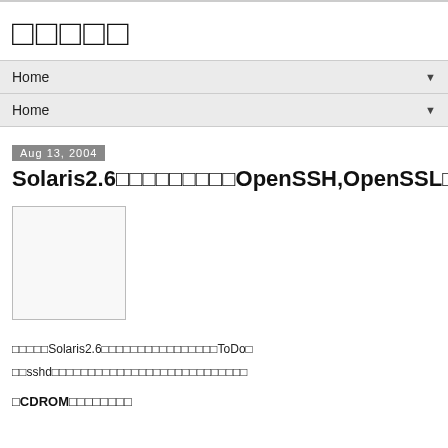□□□□□
Home ▼
Home ▼
Aug 13, 2004
Solaris2.6□□□□□□□□□OpenSSH,OpenSSL□□□setup□
[Figure (photo): Thumbnail image placeholder, white/light gray box with border]
□□□□□Solaris2.6□□□□□□□□□□□□□□□□ToDo□
□□sshd□□□□□□□□□□□□□□□□□□□□□□□□□□□
□CDROM□□□□□□□□